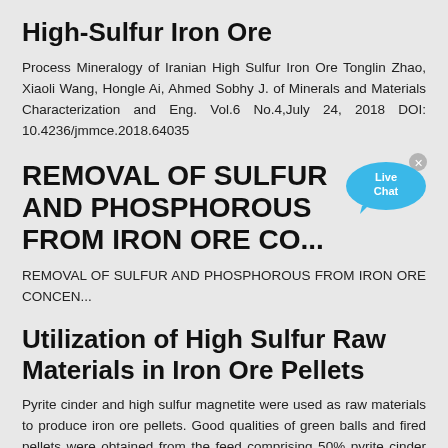High-Sulfur Iron Ore
Process Mineralogy of Iranian High Sulfur Iron Ore Tonglin Zhao, Xiaoli Wang, Hongle Ai, Ahmed Sobhy J. of Minerals and Materials Characterization and Eng. Vol.6 No.4,July 24, 2018 DOI: 10.4236/jmmce.2018.64035
REMOVAL OF SULFUR AND PHOSPHOROUS FROM IRON ORE CO...
REMOVAL OF SULFUR AND PHOSPHOROUS FROM IRON ORE CONCEN...
Utilization of High Sulfur Raw Materials in Iron Ore Pellets
Pyrite cinder and high sulfur magnetite were used as raw materials to produce iron ore pellets. Good qualities of green balls and fired pellets were obtained from the feed comprising 50% pyrite cinder and 50% high sulfur magnetite